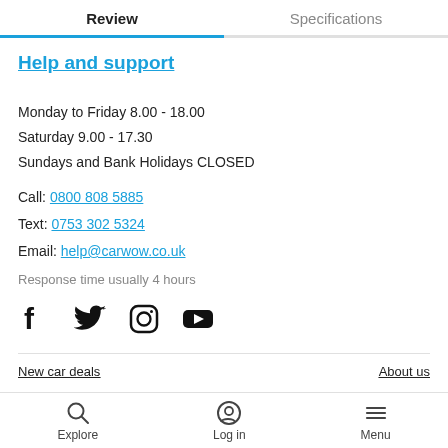Review | Specifications
Help and support
Monday to Friday 8.00 - 18.00
Saturday 9.00 - 17.30
Sundays and Bank Holidays CLOSED
Call: 0800 808 5885
Text: 0753 302 5324
Email: help@carwow.co.uk
Response time usually 4 hours
[Figure (illustration): Social media icons: Facebook, Twitter, Instagram, YouTube]
New car deals   About us
Explore  Log in  Menu